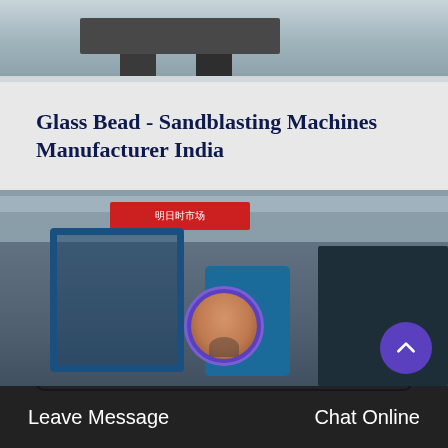[Figure (photo): Top portion of industrial machine against light gray floor background, showing dark legs/base of machine]
Glass Bead - Sandblasting Machines Manufacturer India
Automatic Shot Blasting Machine Manufacturer in India, Sand Blasting Machine Manufacturer of Portable Sand Blaster and Price of a Shot Blasting Machine; Best Excavat…
Get Price
[Figure (photo): Industrial factory exterior with blue tanks and frames, red sign in Chinese characters, dark machinery on right side]
Leave Message   Chat Online